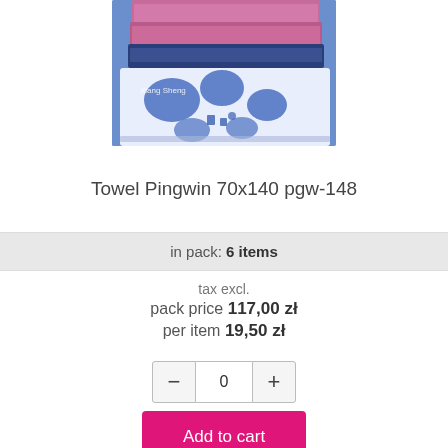[Figure (photo): Stack of folded towels with blue elephant/penguin pattern design on white background, pink/purple and blue colors, with 'Xiang Sheng' watermark text.]
Towel Pingwin 70x140 pgw-148
in pack: 6 items
tax excl.
pack price 117,00 zł
per item 19,50 zł
0
Add to cart